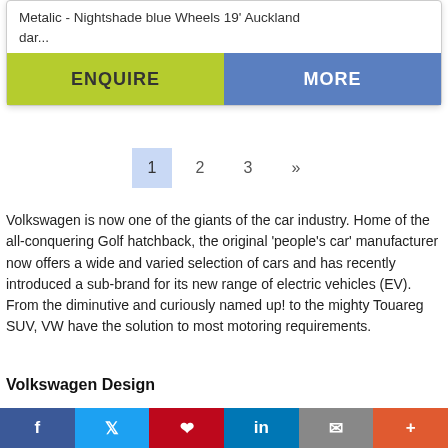Metalic - Nightshade blue Wheels 19' Auckland dar...
[Figure (screenshot): Two buttons: ENQUIRE (yellow-green) and MORE (blue)]
1  2  3  »
Volkswagen is now one of the giants of the car industry. Home of the all-conquering Golf hatchback, the original 'people's car' manufacturer now offers a wide and varied selection of cars and has recently introduced a sub-brand for its new range of electric vehicles (EV). From the diminutive and curiously named up! to the mighty Touareg SUV, VW have the solution to most motoring requirements.
Volkswagen Design
Cars are becoming our home from home. The world's
[Figure (screenshot): Social sharing bar with Facebook, Twitter, Pinterest, LinkedIn, Email, and Plus buttons]